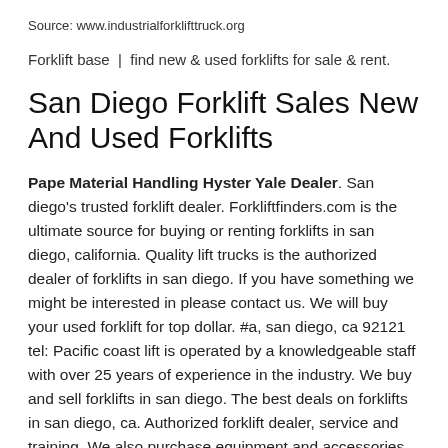Source: www.industrialforklifttruck.org
Forklift base | find new & used forklifts for sale & rent.
San Diego Forklift Sales New And Used Forklifts
Pape Material Handling Hyster Yale Dealer. San diego's trusted forklift dealer. Forkliftfinders.com is the ultimate source for buying or renting forklifts in san diego, california. Quality lift trucks is the authorized dealer of forklifts in san diego. If you have something we might be interested in please contact us. We will buy your used forklift for top dollar. #a, san diego, ca 92121 tel: Pacific coast lift is operated by a knowledgeable staff with over 25 years of experience in the industry. We buy and sell forklifts in san diego. The best deals on forklifts in san diego, ca. Authorized forklift dealer, service and training. We also purchase equipment and accessories for forklifts in san diego. Pacific coast lift is operated by a knowledgeable staff with over 25 years of experience in